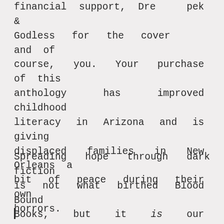financial support, Dre___pek & Godless for the cover ___ and of course, you. Your purchase of this anthology has improved childhood literacy in Arizona and is giving displaced families in New Orleans a bit of peace during their own horrors.
Spreading hope through dark fiction is not what birthed Blood Bound Books, but it is our future. In addition to Blood Bank, we are still giving away free books for blood donations, stocking classrooms with much needed literature, and supporting Shriner's Hospitals.